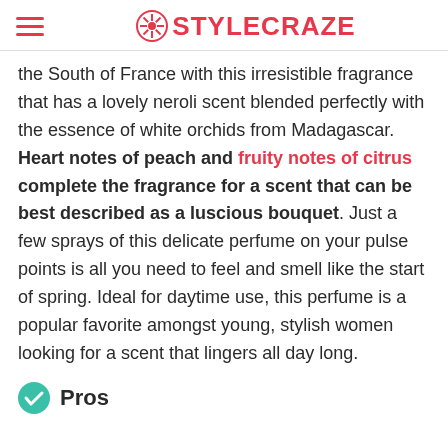STYLECRAZE
the South of France with this irresistible fragrance that has a lovely neroli scent blended perfectly with the essence of white orchids from Madagascar. Heart notes of peach and fruity notes of citrus complete the fragrance for a scent that can be best described as a luscious bouquet. Just a few sprays of this delicate perfume on your pulse points is all you need to feel and smell like the start of spring. Ideal for daytime use, this perfume is a popular favorite amongst young, stylish women looking for a scent that lingers all day long.
Pros